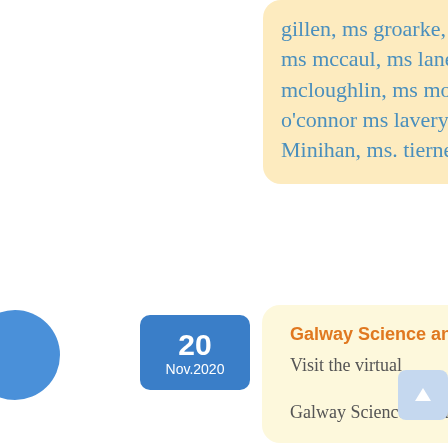gillen, ms groarke, ms halliday, ms joyce, ms kyne, ms lally, ms lally ms mccaul, ms lane, ms lavery, ms mccaul, ms mcguire, ms mcloughlin, ms molloy, ms moran, ms mullins, ms needham, ms o'connor ms lavery, ms s. kavanagh, ms warde, ms. kearney, Ms. Minihan, ms. tierney, Notes, school events
20 Nov.2020
Galway Science and Technology Festival 2020
Visit the virtual

Galway Science and Technology Festival